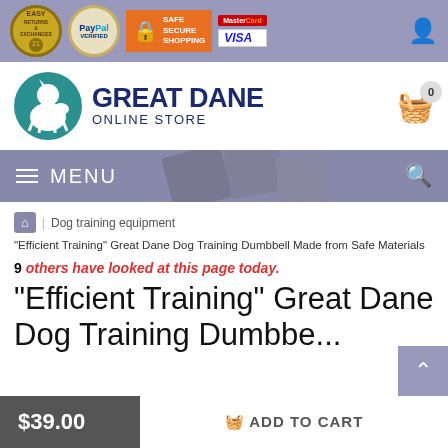[Figure (screenshot): Trust bar with Easy Returns, PayPal Verified, Safe Secure Shopping, MasterCard, Visa badges and user icon]
[Figure (logo): Great Dane Online Store logo with teal dog silhouette circle and store name, plus shopping cart icon showing 0 items]
MENU
Dog training equipment
"Efficient Training" Great Dane Dog Training Dumbbell Made from Safe Materials
9 others have looked at this page today.
"Efficient Training" Great Dane Dog Training Dumbbe...
$39.00
ADD TO CART